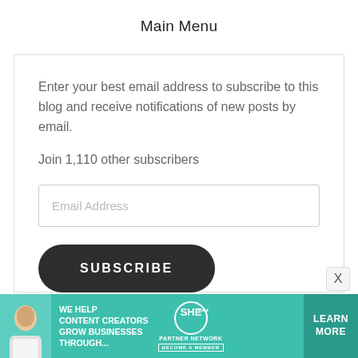Main Menu
Enter your best email address to subscribe to this blog and receive notifications of new posts by email.
Join 1,110 other subscribers
[Figure (screenshot): Email address input field placeholder]
[Figure (screenshot): SUBSCRIBE button, dark rounded pill shape with white uppercase text]
[Figure (infographic): Advertisement banner: SHE Media Partner Network. Text: WE HELP CONTENT CREATORS GROW BUSINESSES THROUGH... with LEARN MORE button]